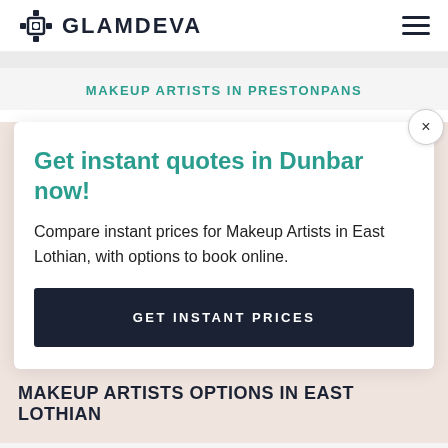GLAMDEVA
MAKEUP ARTISTS IN PRESTONPANS
Get instant quotes in Dunbar now!
Compare instant prices for Makeup Artists in East Lothian, with options to book online.
GET INSTANT PRICES
MAKEUP ARTISTS OPTIONS IN EAST LOTHIAN
BRIDAL MAKEUP